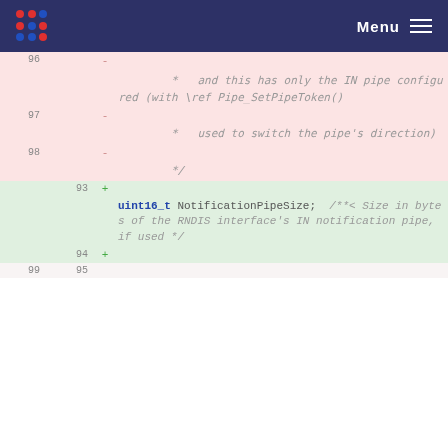Menu
96  -
        *   and this has only the IN pipe configured (with \ref Pipe_SetPipeToken()
97  -
        *   used to switch the pipe's direction)
98  -
        */
93  +  uint16_t NotificationPipeSize;  /**< Size in bytes of the RNDIS interface's IN notification pipe, if used */
94  +
99  95
[Figure (screenshot): Code diff viewer showing removed lines (pink background, lines 96-98) with comment text about IN pipe configuration, and added lines (green background, line 93) with uint16_t NotificationPipeSize declaration]